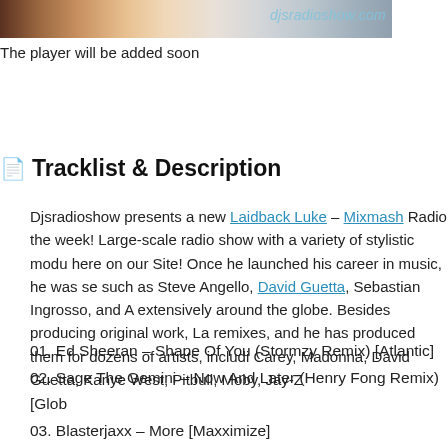[Figure (photo): Partial photo of a person with djsradioshow.com watermark text overlaid]
The player will be added soon
Tracklist & Description
Djsradioshow presents a new Laidback Luke – Mixmash Radio the week! Large-scale radio show with a variety of stylistic modu here on our Site! Once he launched his career in music, he was s such as Steve Angello, David Guetta, Sebastian Ingrosso, and A extensively around the globe. Besides producing original work, La remixes, and he has produced them for dozens of artists, includi Carey, Madonna, David Guetta, Kanye West, Pitbull, Moby, Jay-Z
01. Ed Sheeran – Shape Of You (Stormzy Remix) [Atlantic]
02. Sage The Gemini – Now And Later (Henry Fong Remix) [Glob
03. Blasterjaxx – More [Maxximize]
04. Gina Turner Ft. Tim Miller – SriRam [Divine]